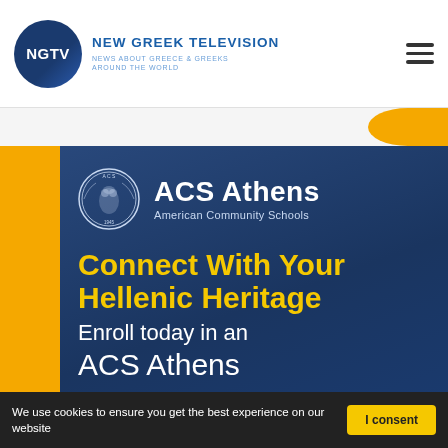NGTV NEW GREEK TELEVISION NEWS ABOUT GREECE & GREEKS AROUND THE WORLD
[Figure (screenshot): ACS Athens American Community Schools advertisement banner on NGTV website. Blue background with yellow stripe. Shows ACS Athens logo with owl seal, large text 'Connect With Your Hellenic Heritage' in yellow, and 'Enroll today in an ACS Athens' in white.]
We use cookies to ensure you get the best experience on our website
I consent